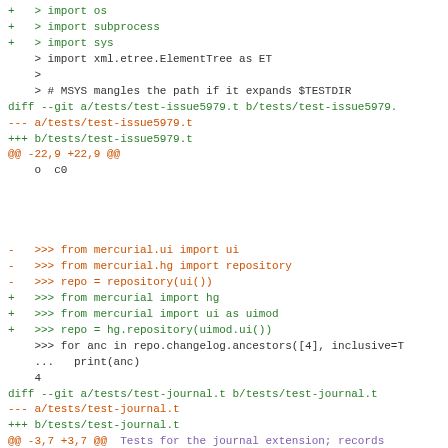[Figure (screenshot): Code diff view showing git diff output for test-issue5979.t and test-journal.t files, with added lines in green, removed lines in red/orange, context lines in dark, and diff headers in green/red.]